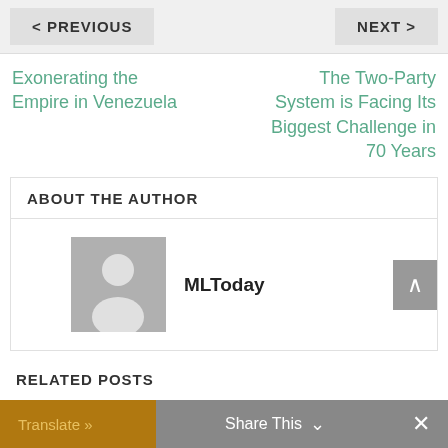< PREVIOUS    NEXT >
Exonerating the Empire in Venezuela
The Two-Party System is Facing Its Biggest Challenge in 70 Years
ABOUT THE AUTHOR
[Figure (illustration): Default user avatar placeholder — grey silhouette of a person]
MLToday
RELATED POSTS
Translate »    Share This ∨    ×